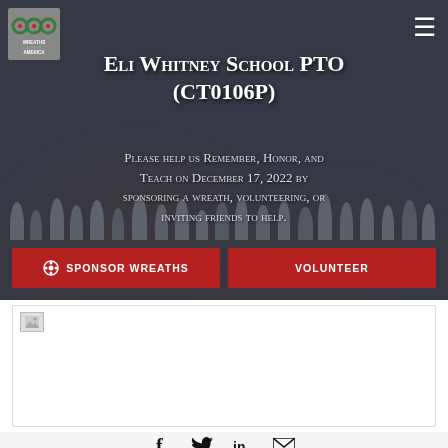[Figure (photo): Wreaths Across America logo in top left corner — red wreaths with green foliage on grey background, text WREATHS ACROSS AMERICA below]
Eli Whitney School PTO (CT0106P)
Please help us Remember, Honor, and Teach on December 17, 2022 by sponsoring a wreath, volunteering, or inviting friends to help.
SPONSOR WREATHS
VOLUNTEER
[Figure (screenshot): White card/widget area with a small broken image placeholder icon in the top left]
[Figure (infographic): Social media share icons row: Facebook (f), Twitter bird, LinkedIn (in), Email envelope — all in black]